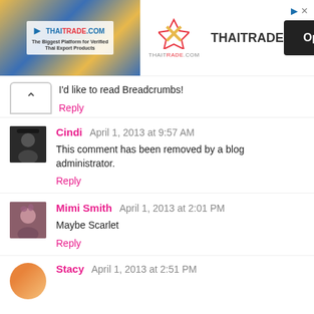[Figure (screenshot): Advertisement banner for THAITRADE.COM - The Biggest Platform for Verified Thai Export Products, with an Open button]
I'd like to read Breadcrumbs!
Reply
Cindi  April 1, 2013 at 9:57 AM
This comment has been removed by a blog administrator.
Reply
Mimi Smith  April 1, 2013 at 2:01 PM
Maybe Scarlet
Reply
Stacy  April 1, 2013 at 2:51 PM